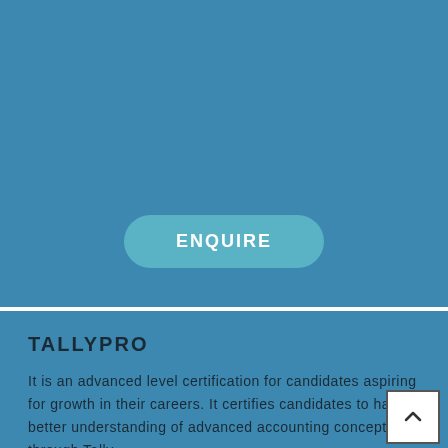[Figure (other): Blue background top section with an ENQUIRE button (rounded rectangle, teal color)]
TALLYPRO
It is an advanced level certification for candidates aspiring for growth in their careers. It certifies candidates to have a better understanding of advanced accounting concepts through Tally.
This certification covers: